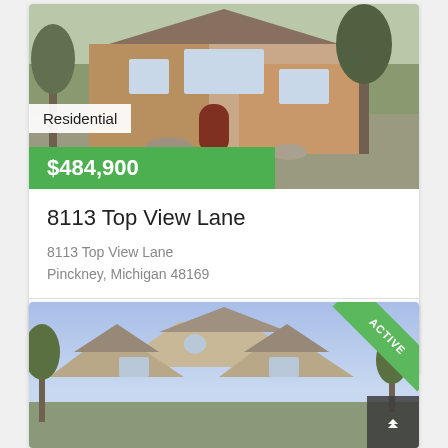[Figure (photo): Exterior photo of a large brick and stone residential home with landscaping]
Residential
$484,900
8113 Top View Lane
8113 Top View Lane
Pinckney, Michigan 48169
5 Beds   5.00 Baths   3449 Square Feet
[Figure (photo): Exterior photo of a large multi-gabled residential home with ACTIVE banner in corner]